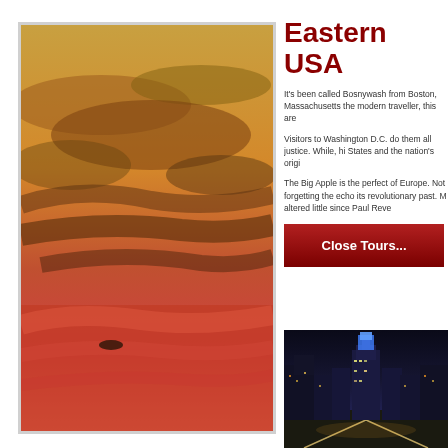[Figure (photo): Sunset sky with dramatic orange, red and purple clouds]
Eastern USA
It's been called Bosnywash from Boston, Massachusetts the modern traveller, this are
Visitors to Washington D.C. do them all justice. While, hi States and the nation's origi
The Big Apple is the perfect of Europe. Not forgetting the echo its revolutionary past. M altered little since Paul Reve
Close Tours...
[Figure (photo): City night skyline with illuminated buildings and street lights]